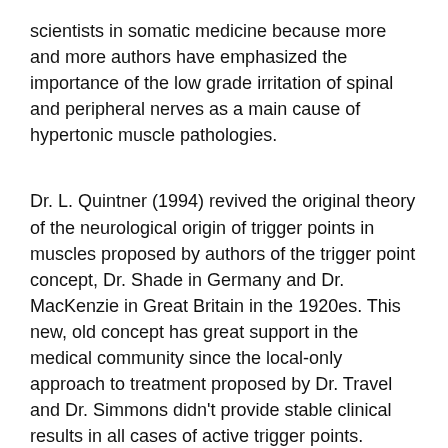scientists in somatic medicine because more and more authors have emphasized the importance of the low grade irritation of spinal and peripheral nerves as a main cause of hypertonic muscle pathologies.
Dr. L. Quintner (1994) revived the original theory of the neurological origin of trigger points in muscles proposed by authors of the trigger point concept, Dr. Shade in Germany and Dr. MacKenzie in Great Britain in the 1920es. This new, old concept has great support in the medical community since the local-only approach to treatment proposed by Dr. Travel and Dr. Simmons didn't provide stable clinical results in all cases of active trigger points.
To summarize. The information in the article is correct and the therapists may use these treatment recommendations only if tension in the gluteus minimus is a result of trauma or overused tension. However if tension in the gluteus minimus developed as a result of irritation of the spinal nerves by:
Tension in the lumbar erectors,